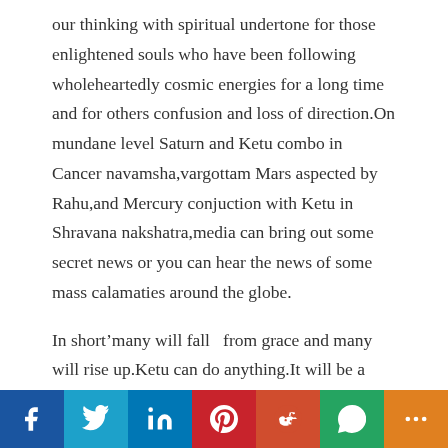our thinking with spiritual undertone for those enlightened souls who have been following wholeheartedly cosmic energies for a long time and for others confusion and loss of direction.On mundane level Saturn and Ketu combo in Cancer navamsha,vargottam Mars aspected by Rahu,and Mercury conjuction with Ketu in Shravana nakshatra,media can bring out some secret news or you can hear the news of some mass calamaties around the globe.
In short’many will fall  from grace and many will rise up.Ketu can do anything.It will be a period of endings for many and start of a new beginning for others.Everyone will reap what they sow.Justice will be done to all.
Since Cancer is a feminine sign and is psychic, intuitive,
[Figure (other): Social media sharing bar with Facebook, Twitter, LinkedIn, Pinterest, Reddit, WhatsApp, and More buttons]